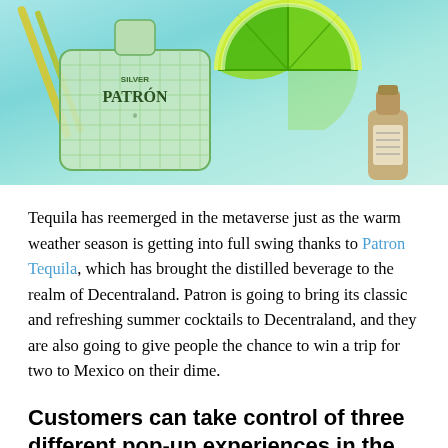[Figure (illustration): Stylized illustration of a Patron Silver tequila bottle rendered as a mosaic/grid pattern in green, a bright green lime slice wedge, a small brown tequila bottle, and yellow/green straws, all on a teal/aqua background.]
Tequila has reemerged in the metaverse just as the warm weather season is getting into full swing thanks to Patron Tequila, which has brought the distilled beverage to the realm of Decentraland. Patron is going to bring its classic and refreshing summer cocktails to Decentraland, and they are also going to give people the chance to win a trip for two to Mexico on their dime.
Customers can take control of three different pop-up experiences in the virtual world.  As the grand prize, users will receive an extravagant trip for two to Punta Mita in